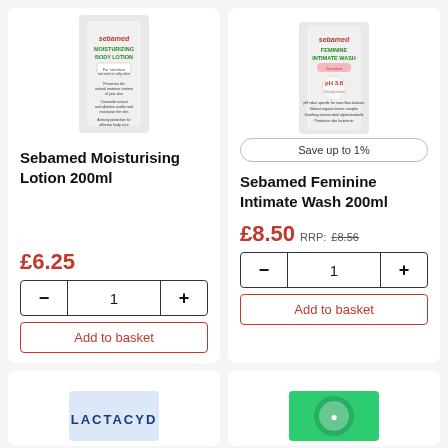[Figure (photo): Sebamed Moisturizing Body Lotion 200ml product image]
Sebamed Moisturising Lotion 200ml
£6.25
[Figure (photo): Sebamed Feminine Intimate Wash 200ml product image]
Save up to 1%
Sebamed Feminine Intimate Wash 200ml
£8.50 RRP: £8.56
[Figure (photo): Lactacyd product image (partial, bottom of page)]
[Figure (photo): Green circular logo product image (partial, bottom of page)]